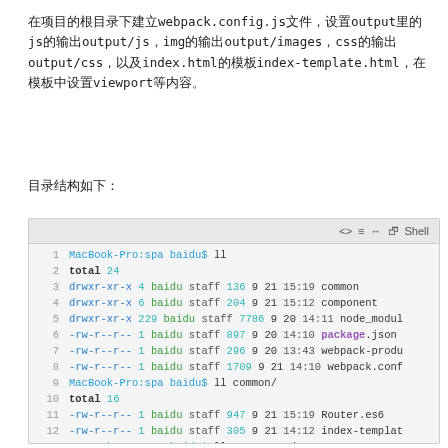在项目的根目录下建立webpack.config.js文件，设置output里的js的输出output/js，img的输出output/images，css的输出output/css，以及index.html的模板index-template.html，在模板中设置viewport等内容。
目录结构如下：
[Figure (screenshot): Terminal shell output showing directory listing (ll) of a spa project, including directories: common, component, node_modules, and files: package.json, webpack-prod config, webpack.config. Also shows ll common/ with Router.es6 and index-template, and ll component/ with Container.es6, MsgCreatePage, MsgDetailPage, MsgListPage.]